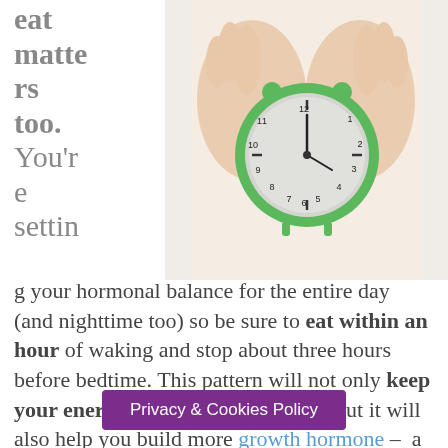eat matters too. You're setting your hormonal balance for the entire day (and nighttime too) so be sure to eat within an hour of waking and stop about three hours before bedtime. This pattern will not only keep your energy and moods balanced, but it will also help you build more growth hormone – a fountain-of-youth hormone for sure.
[Figure (photo): Hands holding a green alarm clock against a white background, suggesting timing of meals]
Focus on protein in the
Privacy & Cookies Policy